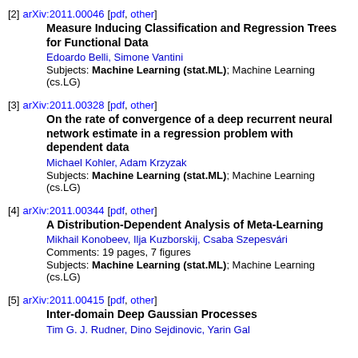[2] arXiv:2011.00046 [pdf, other]
Measure Inducing Classification and Regression Trees for Functional Data
Edoardo Belli, Simone Vantini
Subjects: Machine Learning (stat.ML); Machine Learning (cs.LG)
[3] arXiv:2011.00328 [pdf, other]
On the rate of convergence of a deep recurrent neural network estimate in a regression problem with dependent data
Michael Kohler, Adam Krzyzak
Subjects: Machine Learning (stat.ML); Machine Learning (cs.LG)
[4] arXiv:2011.00344 [pdf, other]
A Distribution-Dependent Analysis of Meta-Learning
Mikhail Konobeev, Ilja Kuzborskij, Csaba Szepesvári
Comments: 19 pages, 7 figures
Subjects: Machine Learning (stat.ML); Machine Learning (cs.LG)
[5] arXiv:2011.00415 [pdf, other]
Inter-domain Deep Gaussian Processes
Tim G. J. Rudner, Dino Sejdinovic, Yarin Gal